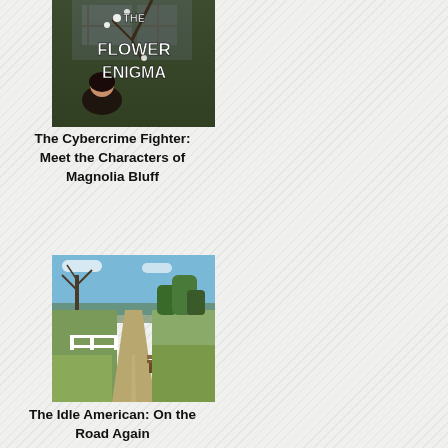[Figure (illustration): Book cover for 'The Flower Enigma' showing a woman and text 'The Cybercrime Fighter: Meet the Characters of Magnolia Bluff']
The Cybercrime Fighter: Meet the Characters of Magnolia Bluff
[Figure (photo): Outdoor photo showing a rural path/road with trees, white fence, and park bench on a sunny day]
The Idle American: On the Road Again